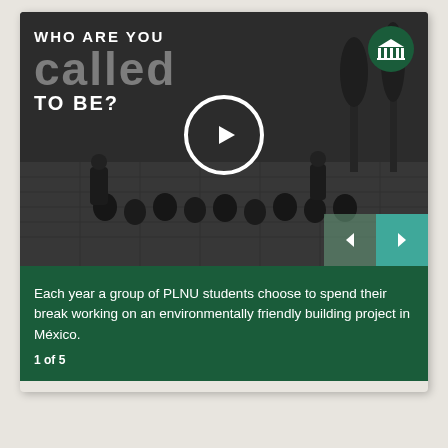[Figure (photo): Black and white group photo of PLNU students outdoors on a brick/stone surface. White play button circle overlay in center. Text overlay top-left reads 'WHO ARE YOU called TO BE?' in white and gray. Dark green circular institution icon top-right. Navigation arrows bottom-right (left arrow on dark green, right arrow on teal). Dark green caption area below with text about PLNU students in México.]
Each year a group of PLNU students choose to spend their break working on an environmentally friendly building project in México.
1 of 5